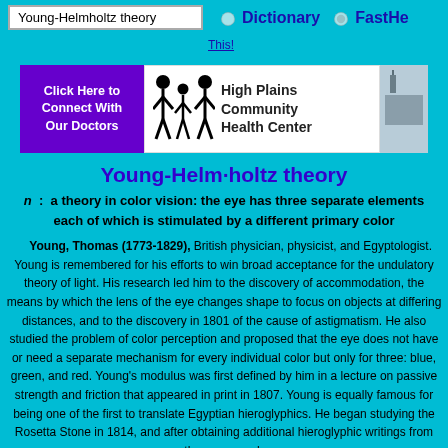Young-Helmholtz theory | Dictionary | FastHe | This!
[Figure (illustration): Banner ad for High Plains Community Health Center with purple 'Click Here to Connect With Our Doctors' button, stick figure family icon, text 'High Plains Community Health Center', and a small photo of a building.]
Young-Helm·holtz theory
n : a theory in color vision: the eye has three separate elements each of which is stimulated by a different primary color
Young, Thomas (1773-1829), British physician, physicist, and Egyptologist. Young is remembered for his efforts to win broad acceptance for the undulatory theory of light. His research led him to the discovery of accommodation, the means by which the lens of the eye changes shape to focus on objects at differing distances, and to the discovery in 1801 of the cause of astigmatism. He also studied the problem of color perception and proposed that the eye does not have or need a separate mechanism for every individual color but only for three: blue, green, and red. Young's modulus was first defined by him in a lecture on passive strength and friction that appeared in print in 1807. Young is equally famous for being one of the first to translate Egyptian hieroglyphics. He began studying the Rosetta Stone in 1814, and after obtaining additional hieroglyphic writings from other sources, he